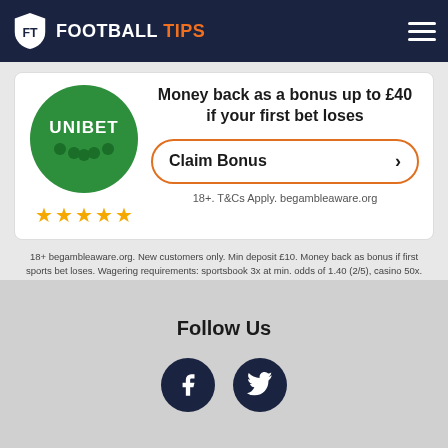FOOTBALL TIPS
[Figure (logo): Unibet circular green logo with star ratings]
Money back as a bonus up to £40 if your first bet loses
Claim Bonus
18+. T&Cs Apply. begambleaware.org
18+ begambleaware.org. New customers only. Min deposit £10. Money back as bonus if first sports bet loses. Wagering requirements: sportsbook 3x at min. odds of 1.40 (2/5), casino 50x. Unless forfeited the sportsbook bonus must be wagered before using the casino bonus. Bonus expires 7 days after opt-in. Visit Unibet.co.uk for full T&C's.
Follow Us
[Figure (other): Facebook and Twitter social media icons]